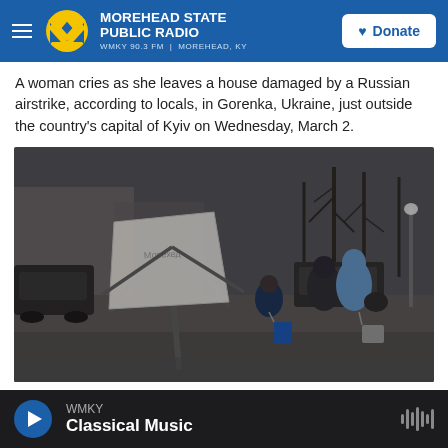MOREHEAD STATE PUBLIC RADIO
WMKY 90.3 FM | MOREHEAD, KY
A woman cries as she leaves a house damaged by a Russian airstrike, according to locals, in Gorenka, Ukraine, just outside the country's capital of Kyiv on Wednesday, March 2.
[Figure (photo): People, including a child pulling a suitcase and adults carrying bags, walking on a damaged street with a fallen billboard structure, dark winter trees in the background — wartime evacuation scene in Ukraine.]
WMKY — Classical Music